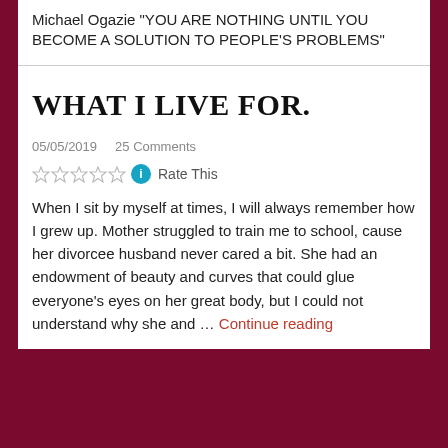Michael Ogazie "YOU ARE NOTHING UNTIL YOU BECOME A SOLUTION TO PEOPLE'S PROBLEMS"
WHAT I LIVE FOR.
05/05/2019   25 Comments
Rate This
When I sit by myself at times, I will always remember how I grew up. Mother struggled to train me to school, cause her divorcee husband never cared a bit. She had an endowment of beauty and curves that could glue everyone's eyes on her great body, but I could not understand why she and … Continue reading